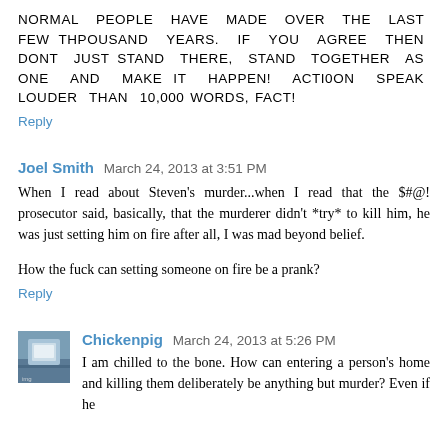NORMAL PEOPLE HAVE MADE OVER THE LAST FEW THPOUSAND YEARS. IF YOU AGREE THEN DONT JUST STAND THERE, STAND TOGETHER AS ONE AND MAKE IT HAPPEN! ACTI0ON SPEAK LOUDER THAN 10,000 WORDS, FACT!
Reply
Joel Smith  March 24, 2013 at 3:51 PM
When I read about Steven's murder...when I read that the $#@! prosecutor said, basically, that the murderer didn't *try* to kill him, he was just setting him on fire after all, I was mad beyond belief.
How the fuck can setting someone on fire be a prank?
Reply
Chickenpig  March 24, 2013 at 5:26 PM
I am chilled to the bone. How can entering a person's home and killing them deliberately be anything but murder? Even if he